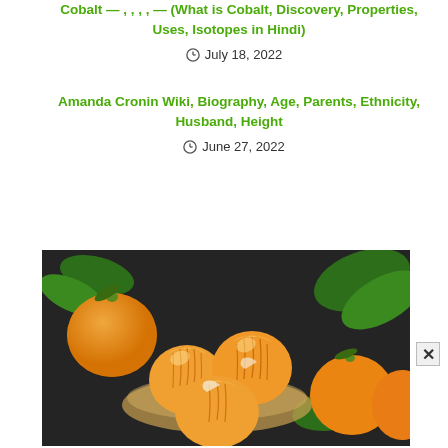Cobalt — , , , , — (What is Cobalt, Discovery, Properties, Uses, Isotopes in Hindi)
July 18, 2022
Amanda Cronin Wiki, Biography, Age, Parents, Ethnicity, Husband, Height
June 27, 2022
[Figure (photo): Photo of peeled and whole tangerines/clementines on a dark surface with green leaves in the background]